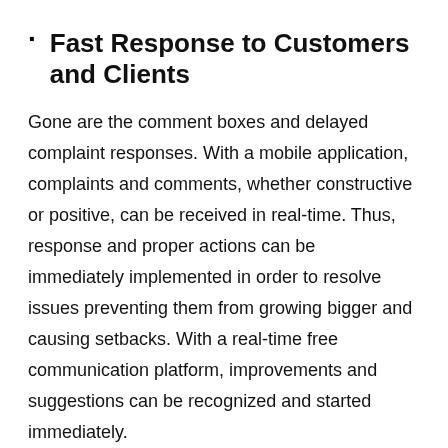Fast Response to Customers and Clients
Gone are the comment boxes and delayed complaint responses. With a mobile application, complaints and comments, whether constructive or positive, can be received in real-time. Thus, response and proper actions can be immediately implemented in order to resolve issues preventing them from growing bigger and causing setbacks. With a real-time free communication platform, improvements and suggestions can be recognized and started immediately.